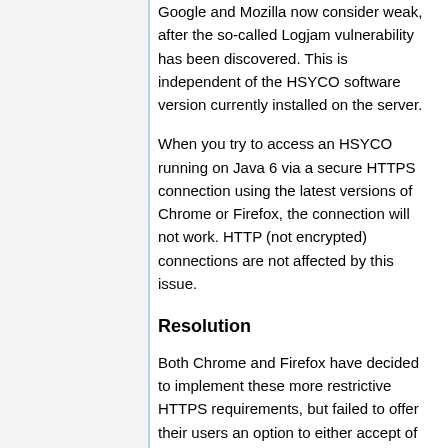Google and Mozilla now consider weak, after the so-called Logjam vulnerability has been discovered. This is independent of the HSYCO software version currently installed on the server.
When you try to access an HSYCO running on Java 6 via a secure HTTPS connection using the latest versions of Chrome or Firefox, the connection will not work. HTTP (not encrypted) connections are not affected by this issue.
Resolution
Both Chrome and Firefox have decided to implement these more restrictive HTTPS requirements, but failed to offer their users an option to either accept of reject a connection to a server which